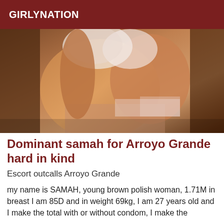GIRLYNATION
[Figure (photo): A selfie photo of a woman in underwear, torso visible, taken in a bedroom setting.]
Dominant samah for Arroyo Grande hard in kind
Escort outcalls Arroyo Grande
my name is SAMAH, young brown polish woman, 1.71M in breast I am 85D and in weight 69kg, I am 27 years old and I make the total with or without condom, I make the